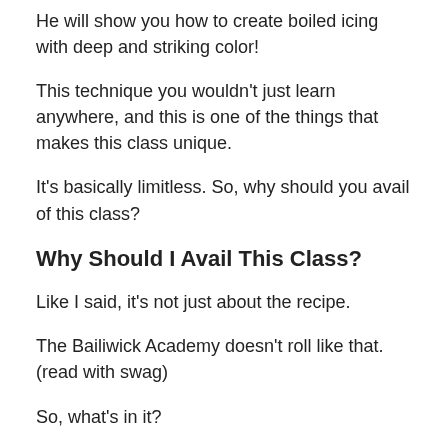He will show you how to create boiled icing with deep and striking color!
This technique you wouldn't just learn anywhere, and this is one of the things that makes this class unique.
It's basically limitless. So, why should you avail of this class?
Why Should I Avail This Class?
Like I said, it's not just about the recipe.
The Bailiwick Academy doesn't roll like that. (read with swag)
So, what's in it?
Quick run through: